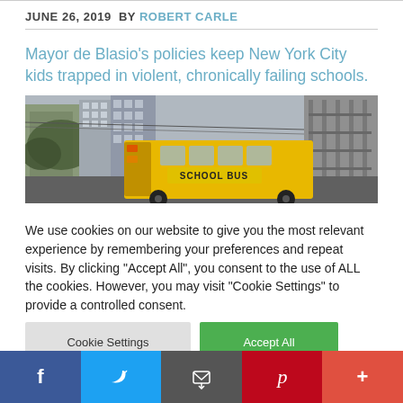JUNE 26, 2019  BY  ROBERT CARLE
Mayor de Blasio’s policies keep New York City kids trapped in violent, chronically failing schools.
[Figure (photo): A yellow school bus in a New York City street surrounded by tall buildings and construction scaffolding, black and white urban background.]
We use cookies on our website to give you the most relevant experience by remembering your preferences and repeat visits. By clicking “Accept All”, you consent to the use of ALL the cookies. However, you may visit "Cookie Settings" to provide a controlled consent.